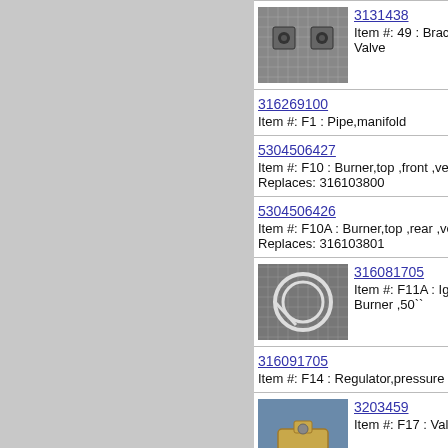[Figure (photo): Two metal bracket parts on grid background]
3131438
Item #: 49 : Bracket, Valve
316269100
Item #: F1 : Pipe,manifold
5304506427
Item #: F10 : Burner,top ,front ,vent
Replaces: 316103800
5304506426
Item #: F10A : Burner,top ,rear ,vent
Replaces: 316103801
[Figure (photo): White coiled ignition wire on grid background]
316081705
Item #: F11A : Igniter, Burner ,50``
316091705
Item #: F14 : Regulator,pressure
[Figure (photo): Brass valve part on blue background]
3203459
Item #: F17 : Valve